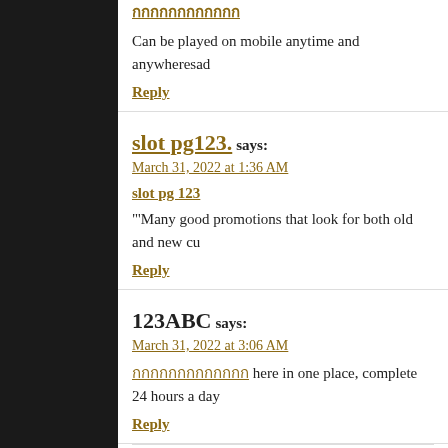Can be played on mobile anytime and anywheresad
Reply
slot pg123. says:
March 31, 2022 at 1:36 AM
slot pg 123
""'Many good promotions that look for both old and new cu
Reply
123ABC says:
March 31, 2022 at 3:06 AM
here in one place, complete 24 hours a day
Reply